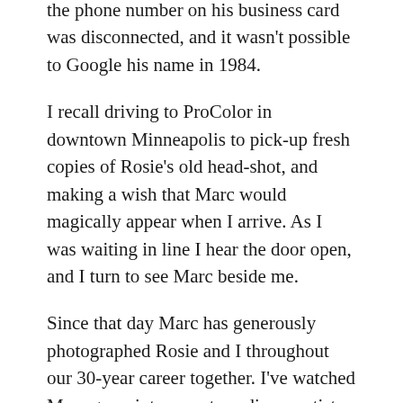the phone number on his business card was disconnected, and it wasn't possible to Google his name in 1984.
I recall driving to ProColor in downtown Minneapolis to pick-up fresh copies of Rosie's old head-shot, and making a wish that Marc would magically appear when I arrive.  As I was waiting in line I hear the door open, and I turn to see Marc beside me.
Since that day Marc has generously photographed Rosie and I throughout our 30-year career together.  I've watched Marc grow into an extraordinary artist. His portraiture work is brilliant, and he is a true wizard with light.